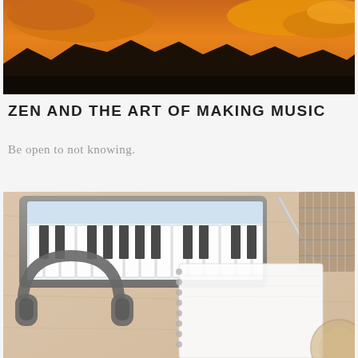[Figure (photo): Sunset landscape with dark mountain silhouette and orange/golden sky with clouds]
ZEN AND THE ART OF MAKING MUSIC
Be open to not knowing.
[Figure (photo): Flat lay of music items on wooden desk: tablet with piano keyboard app, headphones, spiral notebook, pen, and guitar neck visible]